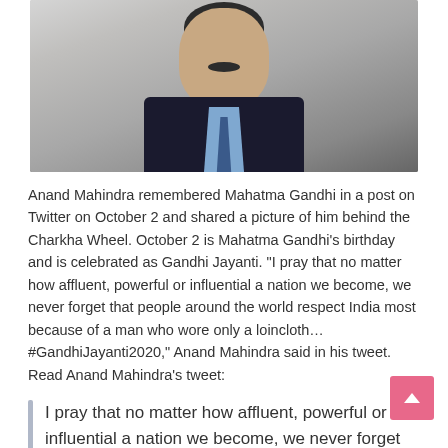[Figure (photo): Portrait photo of Anand Mahindra in a dark suit with light blue shirt and tie, grey background]
Anand Mahindra remembered Mahatma Gandhi in a post on Twitter on October 2 and shared a picture of him behind the Charkha Wheel. October 2 is Mahatma Gandhi's birthday and is celebrated as Gandhi Jayanti. “I pray that no matter how affluent, powerful or influential a nation we become, we never forget that people around the world respect India most because of a man who wore only a loincloth… #GandhiJayanti2020,” Anand Mahindra said in his tweet. Read Anand Mahindra’s tweet:
I pray that no matter how affluent, powerful or influential a nation we become, we never forget that people around the world respect India most